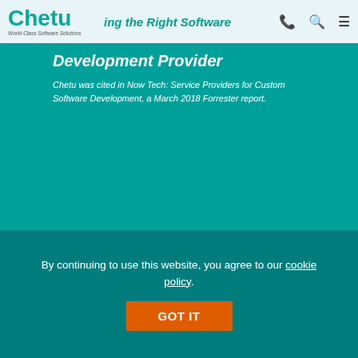Chetu World-Class Software Solutions
[Figure (screenshot): Chetu website screenshot showing hero banner with teal background, text 'Choosing the Right Software Development Provider', colored blocks row, article title, read more button, and second article image with laptop illustration]
Choosing The Right Software Development Provider
READ MORE
By continuing to use this website, you agree to our cookie policy.
GOT IT